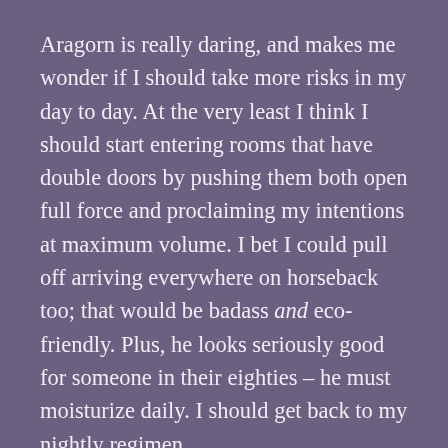Aragorn is really daring, and makes me wonder if I should take more risks in my day to day. At the very least I think I should start entering rooms that have double doors by pushing them both open full force and proclaiming my intentions at maximum volume. I bet I could pull off arriving everywhere on horseback too; that would be badass and eco-friendly. Plus, he looks seriously good for someone in their eighties – he must moisturize daily. I should get back to my nightly regimen.
Samwise is the greatest of them all. Thanks to him I now understand the importance of loyalty. Even when the hobbit you are loyal to yells at you, mistrusts your intentions, allows